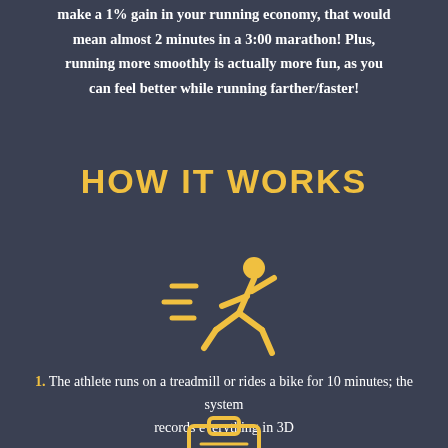make a 1% gain in your running economy, that would mean almost 2 minutes in a 3:00 marathon! Plus, running more smoothly is actually more fun, as you can feel better while running farther/faster!
HOW IT WORKS
[Figure (illustration): Yellow running person icon with motion lines]
1. The athlete runs on a treadmill or rides a bike for 10 minutes; the system records everything in 3D
[Figure (illustration): Yellow clipboard icon partially visible at bottom]